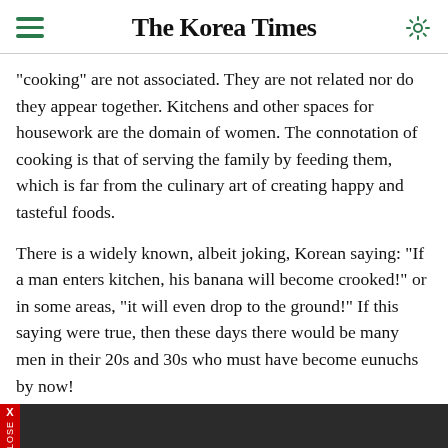The Korea Times
"cooking" are not associated. They are not related nor do they appear together. Kitchens and other spaces for housework are the domain of women. The connotation of cooking is that of serving the family by feeding them, which is far from the culinary art of creating happy and tasteful foods.
There is a widely known, albeit joking, Korean saying: "If a man enters kitchen, his banana will become crooked!" or in some areas, "it will even drop to the ground!" If this saying were true, then these days there would be many men in their 20s and 30s who must have become eunuchs by now!